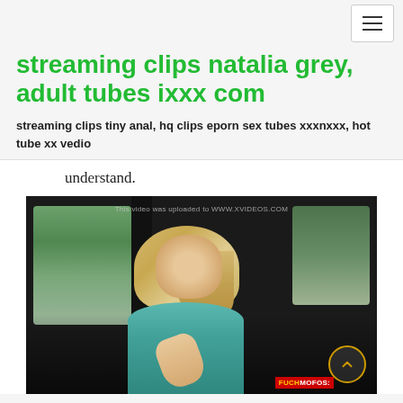[Figure (other): Navigation bar with hamburger menu button (three horizontal lines) in top right corner]
streaming clips natalia grey, adult tubes ixxx com
streaming clips tiny anal, hq clips eporn sex tubes xxxnxxx, hot tube xx vedio
understand.
[Figure (screenshot): Video screenshot showing a blonde woman in a teal top sitting in a car interior. Overlay text reads 'This video was uploaded to WWW.XVIDEOS.COM'. A scroll-up button and FUCKMOFOS watermark are visible.]